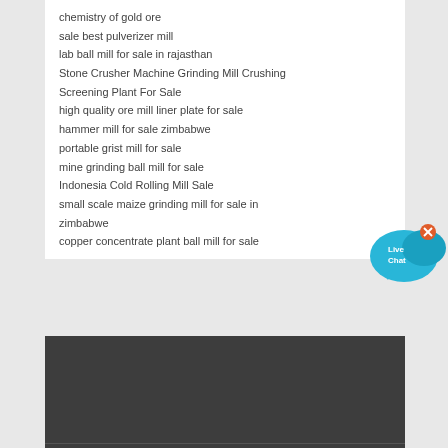chemistry of gold ore
sale best pulverizer mill
lab ball mill for sale in rajasthan
Stone Crusher Machine Grinding Mill Crushing Screening Plant For Sale
high quality ore mill liner plate for sale
hammer mill for sale zimbabwe
portable grist mill for sale
mine grinding ball mill for sale
Indonesia Cold Rolling Mill Sale
small scale maize grinding mill for sale in zimbabwe
copper concentrate plant ball mill for sale
[Figure (illustration): Live Chat button widget with speech bubble icon in blue/cyan color with an X close button in the top right corner]